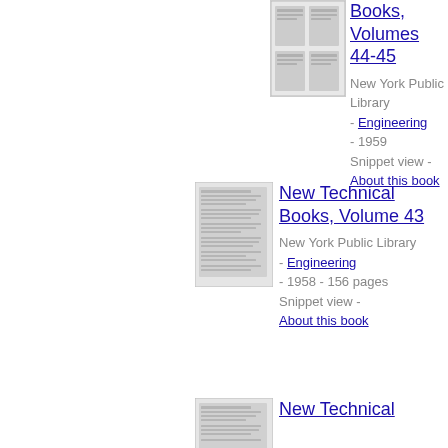[Figure (illustration): Thumbnail image of book cover for New Technical Books, Volumes 44-45]
Books, Volumes 44-45
New York Public Library - Engineering - 1959
Snippet view - About this book
[Figure (illustration): Thumbnail image of book cover for New Technical Books, Volume 43]
New Technical Books, Volume 43
New York Public Library - Engineering - 1958 - 156 pages
Snippet view - About this book
[Figure (illustration): Thumbnail image of book cover for New Technical Books (third entry, partial)]
New Technical